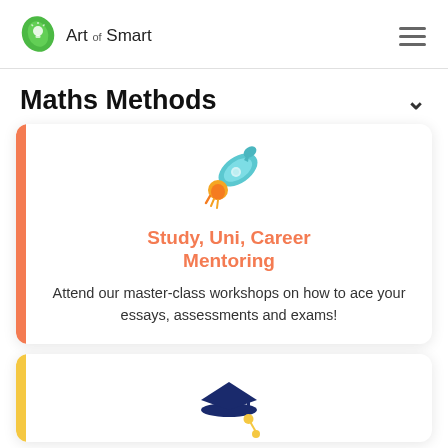Art of Smart
Maths Methods
[Figure (illustration): Rocket ship illustration with orange flame and teal body]
Study, Uni, Career Mentoring
Attend our master-class workshops on how to ace your essays, assessments and exams!
[Figure (illustration): Graduation cap illustration, partially visible at bottom of page]